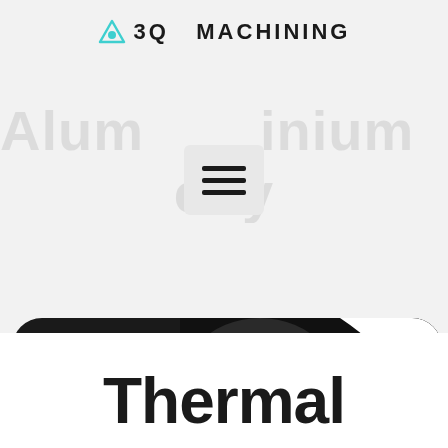[Figure (logo): 3Q Machining logo with teal triangle/drop icon and bold uppercase text]
Aluminium Thermal Capacity
[Figure (screenshot): Hamburger menu icon (three horizontal lines) in a light grey rounded square]
[Figure (other): Black rounded pill button with orange arrow circle and text 'Get Instant Quote']
[Figure (photo): Close-up photo of a hand holding a dark machined metal part with a hexagonal feature, on a dark background, shown in a rounded rectangular crop]
Thermal